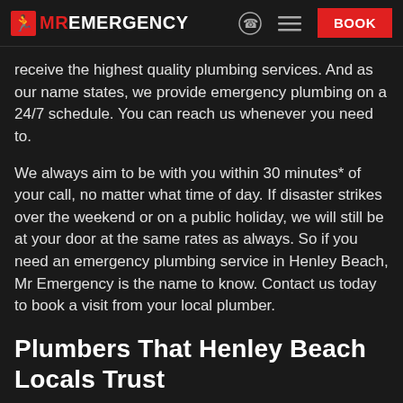MR EMERGENCY | BOOK
receive the highest quality plumbing services. And as our name states, we provide emergency plumbing on a 24/7 schedule. You can reach us whenever you need to.
We always aim to be with you within 30 minutes* of your call, no matter what time of day. If disaster strikes over the weekend or on a public holiday, we will still be at your door at the same rates as always. So if you need an emergency plumbing service in Henley Beach, Mr Emergency is the name to know. Contact us today to book a visit from your local plumber.
Plumbers That Henley Beach Locals Trust